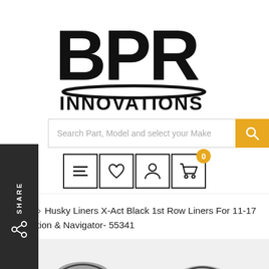[Figure (logo): BPR Innovations logo — large bold stylized letters BPR above a swoosh line, with INNOVATIONS text below in bold sans-serif]
[Figure (screenshot): Search bar with placeholder text 'Search Part, Model and select your Make' and a yellow/gold search button with magnifying glass icon]
[Figure (screenshot): Navigation icon row: hamburger menu, heart/wishlist, user/account, shopping cart with badge showing 0]
Home > Husky Liners X-Act Black 1st Row Liners For 11-17 Expedition & Navigator- 55341
[Figure (photo): Product image area showing grey background with orange dot indicator and partial view of car floor liner product at bottom]